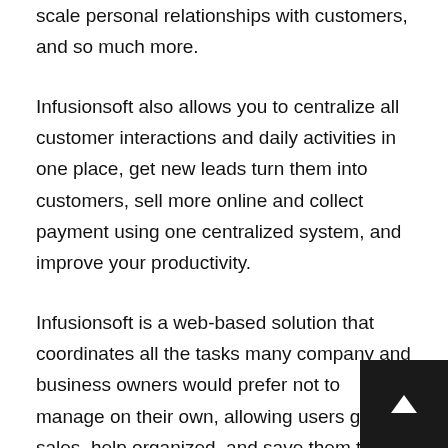scale personal relationships with customers, and so much more.
Infusionsoft also allows you to centralize all customer interactions and daily activities in one place, get new leads turn them into customers, sell more online and collect payment using one centralized system, and improve your productivity.
Infusionsoft is a web-based solution that coordinates all the tasks many company and business owners would prefer not to manage on their own, allowing users grow sales, help organized, and save them time when dealing with basic business issues.
By automating sales and marketing efforts of your business, Infusionsoft enables you to have consistent brand messaging throughout all your campaigns and to assure personalized